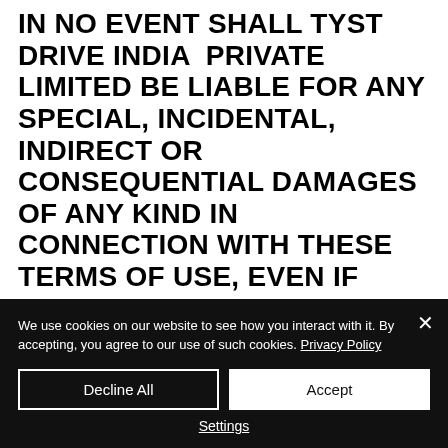IN NO EVENT SHALL TYST DRIVE INDIA  PRIVATE LIMITED BE LIABLE FOR ANY SPECIAL, INCIDENTAL, INDIRECT OR CONSEQUENTIAL DAMAGES OF ANY KIND IN CONNECTION WITH THESE TERMS OF USE, EVEN IF USER HAS BEEN INFORMED IN ADVANCE OF THE POSSIBILITY OF SUCH DAMAGES.
Contact Information
This site is owned and operated by Tyst Drive India Private Limited. If You have any/have any question, issue...
We use cookies on our website to see how you interact with it. By accepting, you agree to our use of such cookies. Privacy Policy
Decline All
Accept
Settings